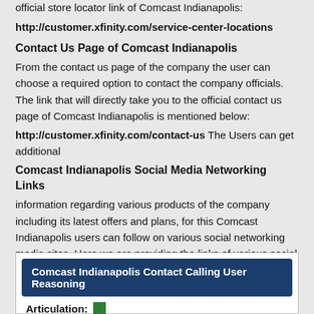official store locator link of Comcast Indianapolis:
http://customer.xfinity.com/service-center-locations
Contact Us Page of Comcast Indianapolis
From the contact us page of the company the user can choose a required option to contact the company officials. The link that will directly take you to the official contact us page of Comcast Indianapolis is mentioned below:
http://customer.xfinity.com/contact-us The Users can get additional
Comcast Indianapolis Social Media Networking Links
information regarding various products of the company including its latest offers and plans, for this Comcast Indianapolis users can follow on various social networking media sites. Here we are providing the links of various social media sites: Comcast Indianapolis Facebook Page Link https://www.facebook.com/xfinity/info?tab=page_info
Comcast Indianapolis Twitter Page Link https://twitter.com/XFINITY
Comcast Indianapolis Contact Calling User Reasoning
Articulation: